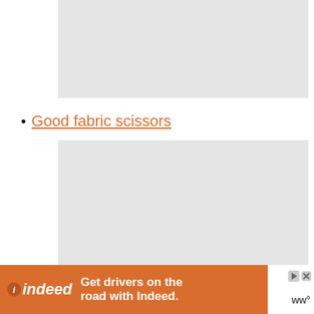[Figure (photo): Gray placeholder image at top of page]
Good fabric scissors
[Figure (photo): Gray placeholder image below list item]
[Figure (other): Indeed advertisement banner: 'Get drivers on the road with Indeed.' with Indeed logo on orange background and WW logo on right]